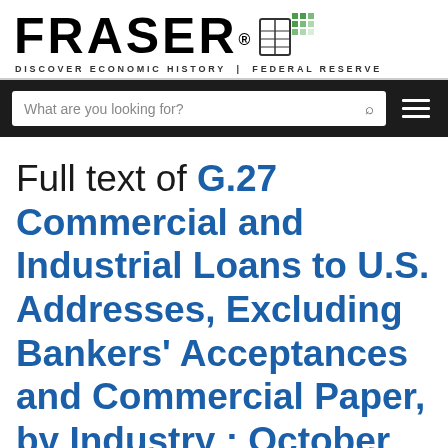FRASER® DISCOVER ECONOMIC HISTORY | FEDERAL RESERVE
What are you looking for?
Full text of G.27 Commercial and Industrial Loans to U.S. Addresses, Excluding Bankers' Acceptances and Commercial Paper, by Industry : October 25, 1961